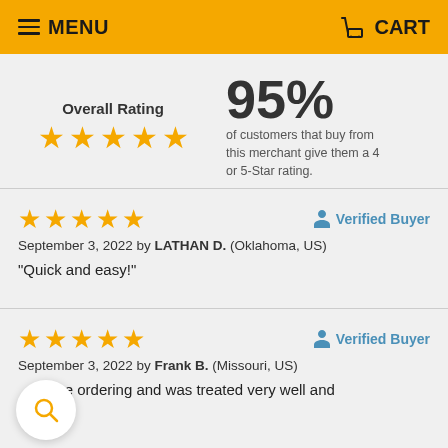MENU   CART
Overall Rating
★★★★★
95% of customers that buy from this merchant give them a 4 or 5-Star rating.
★★★★★  Verified Buyer
September 3, 2022 by LATHAN D. (Oklahoma, US)
"Quick and easy!"
★★★★★  Verified Buyer
September 3, 2022 by Frank B. (Missouri, US)
...before ordering and was treated very well and h...